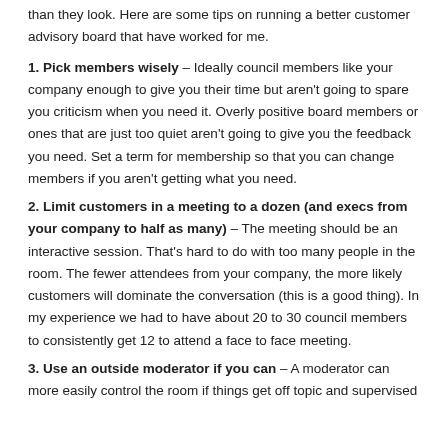than they look.  Here are some tips on running a better customer advisory board that have worked for me.
1.  Pick members wisely – Ideally council members like your company enough to give you their time but aren't going to spare you criticism when you need it.  Overly positive board members or ones that are just too quiet aren't going to give you the feedback you need. Set a term for membership so that you can change members if you aren't getting what you need.
2.  Limit customers in a meeting to a dozen (and execs from your company to half as many) – The meeting should be an interactive session.  That's hard to do with too many people in the room.  The fewer attendees from your company, the more likely customers will dominate the conversation (this is a good thing).  In my experience we had to have about 20 to 30 council members to consistently get 12 to attend a face to face meeting.
3.  Use an outside moderator if you can – A moderator can more easily control the room if things get off topic and experienced